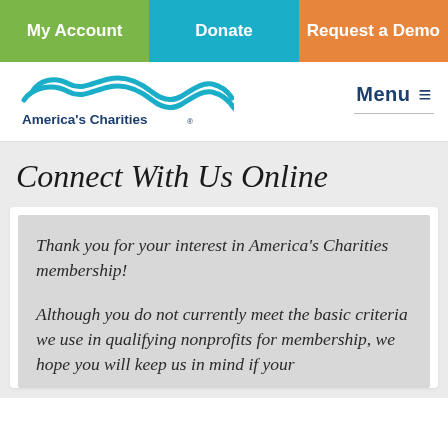My Account | Donate | Request a Demo
[Figure (logo): America's Charities logo with wave graphic and text 'America's Charities®']
Connect With Us Online
Thank you for your interest in America's Charities membership!
Although you do not currently meet the basic criteria we use in qualifying nonprofits for membership, we hope you will keep us in mind if your